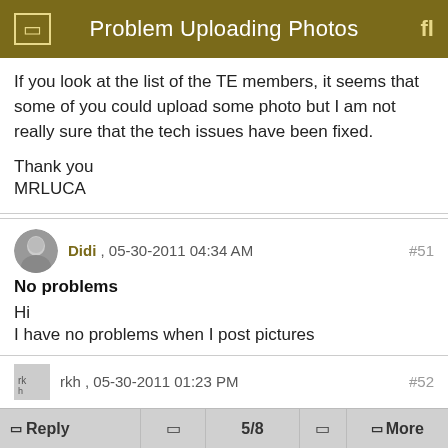Problem Uploading Photos
If you look at the list of the TE members, it seems that some of you could upload some photo but I am not really sure that the tech issues have been fixed.

Thank you
MRLUCA
Didi , 05-30-2011 04:34 AM
#51
No problems
Hi
I have no problems when I post pictures
rkh , 05-30-2011 01:23 PM
#52
Reply  5/8  More